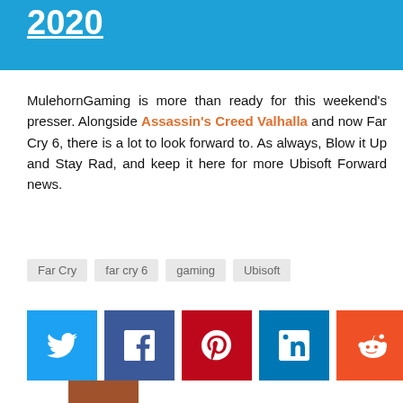2020
MulehornGaming is more than ready for this weekend's presser. Alongside Assassin's Creed Valhalla and now Far Cry 6, there is a lot to look forward to. As always, Blow it Up and Stay Rad, and keep it here for more Ubisoft Forward news.
Far Cry
far cry 6
gaming
Ubisoft
[Figure (infographic): Social sharing icons: Twitter (blue), Facebook (dark blue), Pinterest (red), LinkedIn (blue), Reddit (orange), Tumblr (dark grey), Email (brown)]
Radical618